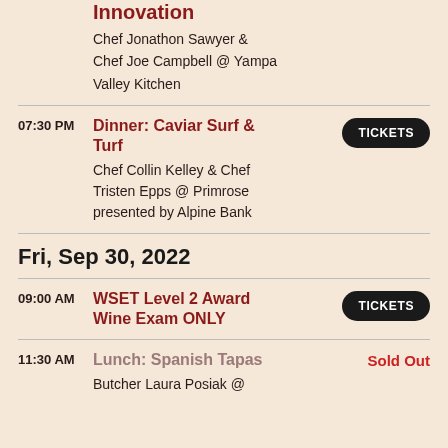Innovation
Chef Jonathon Sawyer & Chef Joe Campbell @ Yampa Valley Kitchen
07:30 PM Dinner: Caviar Surf & Turf – Chef Collin Kelley & Chef Tristen Epps @ Primrose presented by Alpine Bank – TICKETS
Fri, Sep 30, 2022
09:00 AM WSET Level 2 Award Wine Exam ONLY – TICKETS
11:30 AM Lunch: Spanish Tapas – Sold Out – Butcher Laura Posiak @